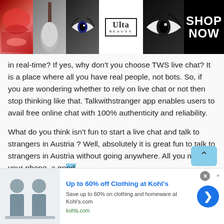[Figure (photo): Ulta Beauty advertisement banner showing makeup/eye images and 'SHOP NOW' text]
in real-time? If yes, why don't you choose TWS live chat? It is a place where all you have real people, not bots. So, if you are wondering whether to rely on live chat or not then stop thinking like that. Talkwithstranger app enables users to avail free online chat with 100% authenticity and reliability.
What do you think isn't fun to start a live chat and talk to strangers in Austria ? Well, absolutely it is great fun to talk to strangers in Austria without going anywhere. All you need your phone, a good internet connection and of course your nickname to
[Figure (screenshot): Kohl's advertisement: Up to 60% off Clothing at Kohl's. Save up to 60% on clothing and homeware at Kohl's.com. kohls.com]